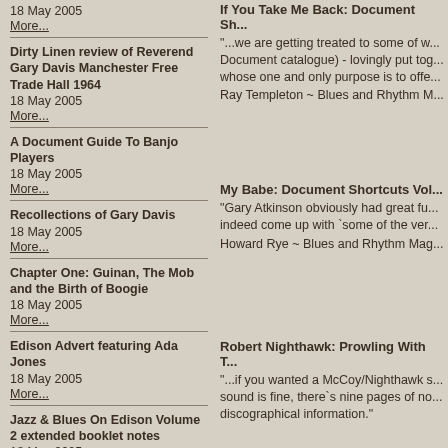18 May 2005
More...
Dirty Linen review of Reverend Gary Davis Manchester Free Trade Hall 1964
18 May 2005
More...
A Document Guide To Banjo Players
18 May 2005
More...
Recollections of Gary Davis
18 May 2005
More...
Chapter One: Guinan, The Mob and the Birth of Boogie
18 May 2005
More...
Edison Advert featuring Ada Jones
18 May 2005
More...
Jazz & Blues On Edison Volume 2 extended booklet notes
18 May 2005
More...
If You Take Me Back: Document Sh...
"...we are getting treated to some of w... Document catalogue) - lovingly put tog... whose one and only purpose is to offe...
Ray Templeton ~ Blues and Rhythm M...
My Babe: Document Shortcuts Vol...
"Gary Atkinson obviously had great fu... indeed come up with `some of the ver...
Howard Rye ~ Blues and Rhythm Mag...
Robert Nighthawk: Prowling With T...
"...if you wanted a McCoy/Nighthawk s... sound is fine, there`s nine pages of no... discographical information."